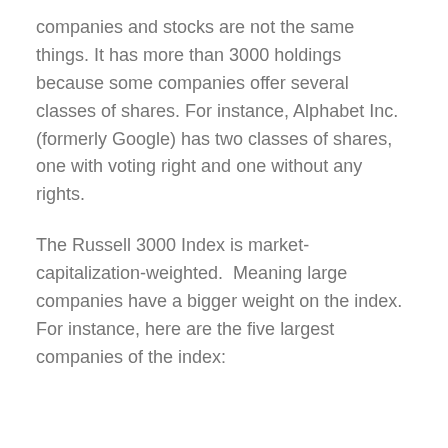companies and stocks are not the same things. It has more than 3000 holdings because some companies offer several classes of shares. For instance, Alphabet Inc. (formerly Google) has two classes of shares, one with voting right and one without any rights.
The Russell 3000 Index is market-capitalization-weighted.  Meaning large companies have a bigger weight on the index. For instance, here are the five largest companies of the index: